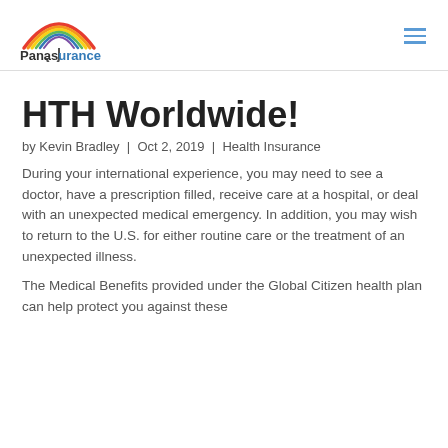Panasurance [logo]
HTH Worldwide!
by Kevin Bradley | Oct 2, 2019 | Health Insurance
During your international experience, you may need to see a doctor, have a prescription filled, receive care at a hospital, or deal with an unexpected medical emergency. In addition, you may wish to return to the U.S. for either routine care or the treatment of an unexpected illness.
The Medical Benefits provided under the Global Citizen health plan can help protect you against these